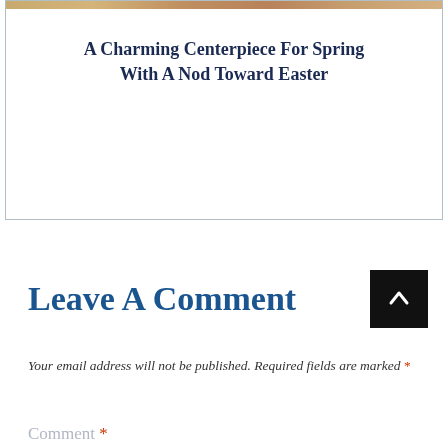[Figure (photo): Decorative image strip at top of card showing a warm-toned centerpiece photo]
A Charming Centerpiece For Spring With A Nod Toward Easter
Leave A Comment
Your email address will not be published. Required fields are marked *
Comment *